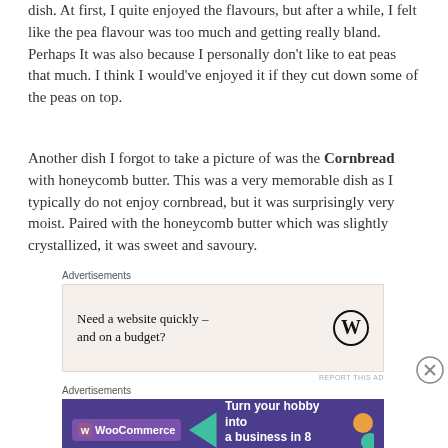dish. At first, I quite enjoyed the flavours, but after a while, I felt like the pea flavour was too much and getting really bland. Perhaps It was also because I personally don't like to eat peas that much. I think I would've enjoyed it if they cut down some of the peas on top.
Another dish I forgot to take a picture of was the Cornbread with honeycomb butter. This was a very memorable dish as I typically do not enjoy cornbread, but it was surprisingly very moist. Paired with the honeycomb butter which was slightly crystallized, it was sweet and savoury.
[Figure (other): Advertisement banner: 'Need a website quickly – and on a budget?' with WordPress logo on beige background]
[Figure (other): Advertisement banner: WooCommerce – 'Turn your hobby into a business in 8 steps' on dark purple background with colorful geometric shapes]